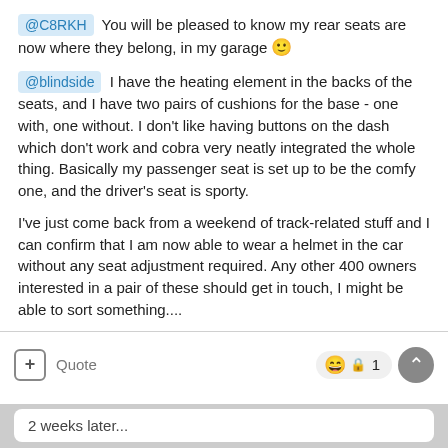@C8RKH You will be pleased to know my rear seats are now where they belong, in my garage 🙂
@blindside I have the heating element in the backs of the seats, and I have two pairs of cushions for the base - one with, one without. I don't like having buttons on the dash which don't work and cobra very neatly integrated the whole thing. Basically my passenger seat is set up to be the comfy one, and the driver's seat is sporty.
I've just come back from a weekend of track-related stuff and I can confirm that I am now able to wear a helmet in the car without any seat adjustment required. Any other 400 owners interested in a pair of these should get in touch, I might be able to sort something....
+ Quote  🎭 1
2 weeks later...